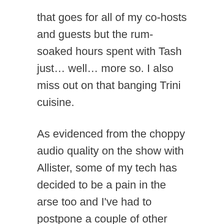that goes for all of my co-hosts and guests but the rum-soaked hours spent with Tash just… well… more so. I also miss out on that banging Trini cuisine.
As evidenced from the choppy audio quality on the show with Allister, some of my tech has decided to be a pain in the arse too and I've had to postpone a couple of other guest appearances over the last month or so but I'll be getting back to them as soon as they're resolved. Meanwhile though I have my trusty Tascam available so Phil and I can record our take on City of the Beast independently of that so that's our plan for this weekend.